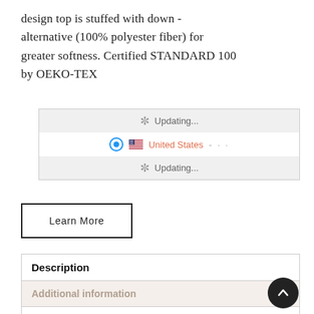design top is stuffed with down - alternative (100% polyester fiber) for greater softness. Certified STANDARD 100 by OEKO-TEX
[Figure (screenshot): Shipping/location selector UI showing two 'Updating...' rows (grey background) and a selected 'United States' row with radio button and flag emoji]
Learn More
| Description |
| Additional information |
| Description |